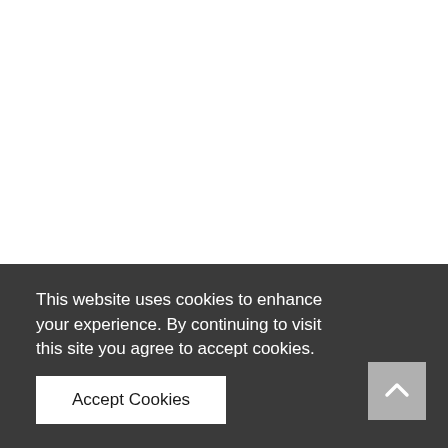Home ▸ ZODIAC SIGNS ▸ These signs of the zodiac make every mistake
These signs of the
This website uses cookies to enhance your experience. By continuing to visit this site you agree to accept cookies.
Accept Cookies